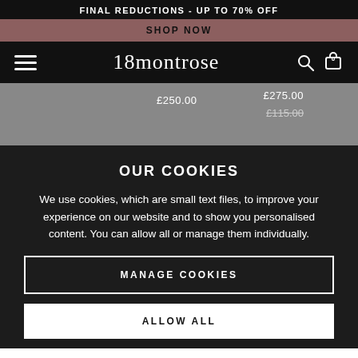FINAL REDUCTIONS - UP TO 70% OFF
SHOP NOW
[Figure (screenshot): 18montrose website navigation bar with hamburger menu, logo, search and bag icons]
£250.00  £275.00  £115.00
OUR COOKIES
We use cookies, which are small text files, to improve your experience on our website and to show you personalised content. You can allow all or manage them individually.
MANAGE COOKIES
ALLOW ALL